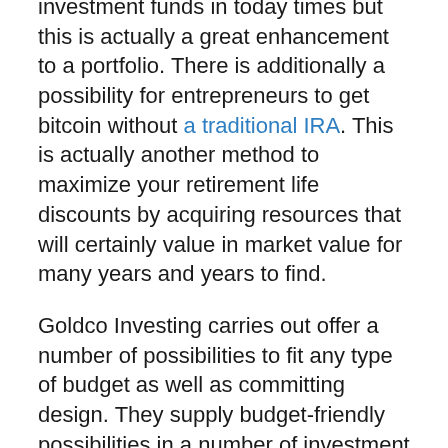investment funds in today times but this is actually a great enhancement to a portfolio. There is additionally a possibility for entrepreneurs to get bitcoin without a traditional IRA. This is actually another method to maximize your retirement life discounts by acquiring resources that will certainly value in market value for many years and years to find.
Goldco Investing carries out offer a number of possibilities to fit any type of budget as well as committing design. They supply budget-friendly possibilities in a number of investment categories consisting of assets as well as bonds, gold and silver, plus all primary financial expenditure providers featuring TIAACREF, Front, Charles Schwab,